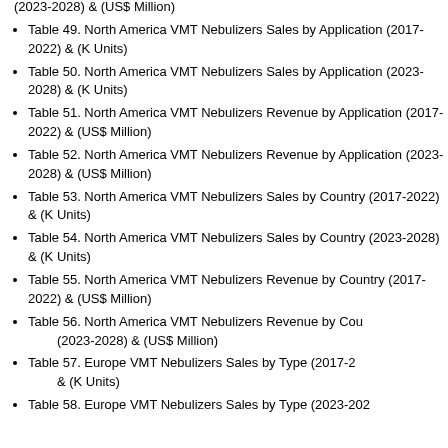(2023-2028) & (US$ Million)
Table 49. North America VMT Nebulizers Sales by Application (2017-2022) & (K Units)
Table 50. North America VMT Nebulizers Sales by Application (2023-2028) & (K Units)
Table 51. North America VMT Nebulizers Revenue by Application (2017-2022) & (US$ Million)
Table 52. North America VMT Nebulizers Revenue by Application (2023-2028) & (US$ Million)
Table 53. North America VMT Nebulizers Sales by Country (2017-2022) & (K Units)
Table 54. North America VMT Nebulizers Sales by Country (2023-2028) & (K Units)
Table 55. North America VMT Nebulizers Revenue by Country (2017-2022) & (US$ Million)
Table 56. North America VMT Nebulizers Revenue by Country (2023-2028) & (US$ Million)
Table 57. Europe VMT Nebulizers Sales by Type (2017-2022) & (K Units)
Table 58. Europe VMT Nebulizers Sales by Type (2023-2028)